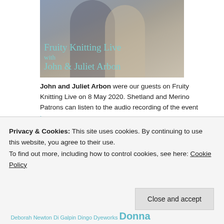[Figure (photo): Photo of John and Juliet Arbon with overlay text 'Fruity Knitting Live with John & Juliet Arbon' in teal/cyan color]
John and Juliet Arbon were our guests on Fruity Knitting Live on 8 May 2020. Shetland and Merino Patrons can listen to the audio recording of the event here. You can find the Audio Podcasts Index listing all Fruity Knitting Live events here. We now have 36 audio podcasts available, and past guests include Caitlin Hunter, Andrea Mowry, Nancy Marchant, Isabel
Privacy & Cookies: This site uses cookies. By continuing to use this website, you agree to their use. To find out more, including how to control cookies, see here: Cookie Policy
Close and accept
Deborah Newton Di Galpin Dingo Dyeworks Donna